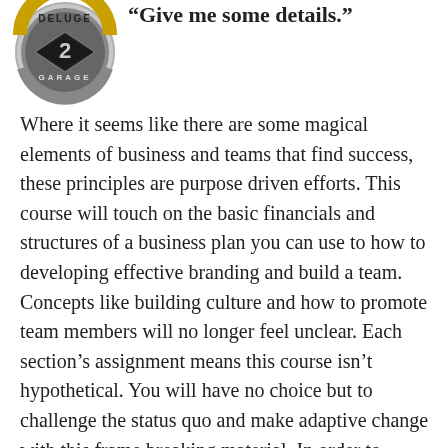“Give me some details.”
[Figure (logo): Deluge Garage 2 logo — circular emblem with gold lettering DELUGE on top, a diamond shape with number 2 in center, and GARAGE text at bottom, on a grey/black background]
Where it seems like there are some magical elements of business and teams that find success, these principles are purpose driven efforts. This course will touch on the basic financials and structures of a business plan you can use to how to developing effective branding and build a team. Concepts like building culture and how to promote team members will no longer feel unclear. Each section’s assignment means this course isn’t hypothetical. You will have no choice but to challenge the status quo and make adaptive change with this frame breaking material. In order to solidify these